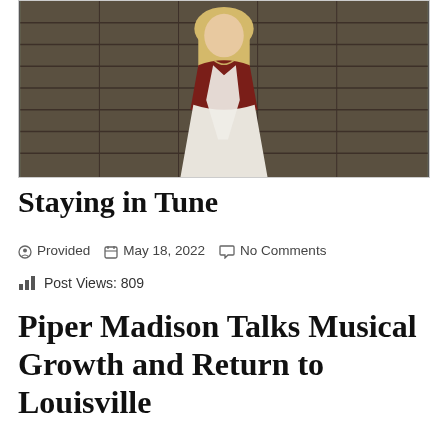[Figure (photo): A woman with long blonde hair wearing a dark red short-sleeved top over a white flowy dress with a white scarf, standing in front of a rustic wooden wall outdoors.]
Staying in Tune
Provided   May 18, 2022   No Comments
Post Views: 809
Piper Madison Talks Musical Growth and Return to Louisville